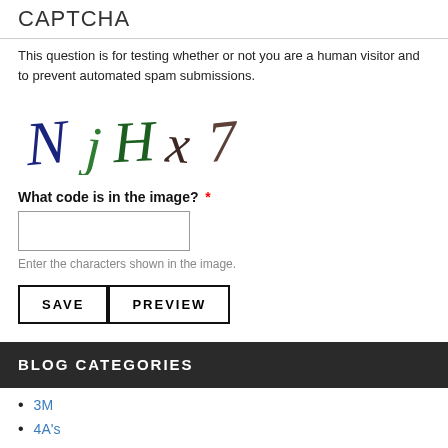CAPTCHA
This question is for testing whether or not you are a human visitor and to prevent automated spam submissions.
[Figure (other): CAPTCHA image showing handwritten characters: N j H x 7]
What code is in the image? *
Enter the characters shown in the image.
BLOG CATEGORIES
3M
4A's